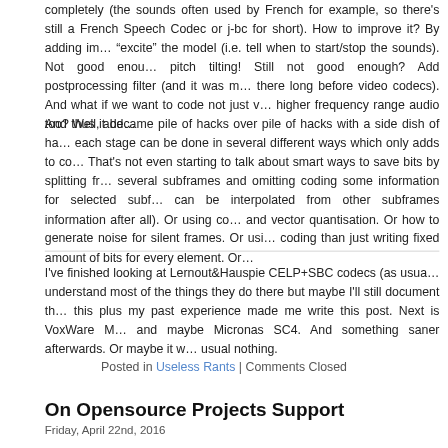completely (the sounds often used by French for example, so there's still a French Speech Codec or j‑bc for short). How to improve it? By adding im... "excite" the model (i.e. tell when to start/stop the sounds). Not good enou... pitch tilting! Still not good enough? Add postprocessing filter (and it was m... there long before video codecs). And what if we want to code not just v... higher frequency range audio too? Well, add…
And thus it became pile of hacks over pile of hacks with a side dish of ha... each stage can be done in several different ways which only adds to co... That's not even starting to talk about smart ways to save bits by splitting fr... several subframes and omitting coding some information for selected subf... can be interpolated from other subframes information after all). Or using co... and vector quantisation. Or how to generate noise for silent frames. Or usi... coding than just writing fixed amount of bits for every element. Or…
I've finished looking at Lernout&Hauspie CELP+SBC codecs (as usua... understand most of the things they do there but maybe I'll still document th... this plus my past experience made me write this post. Next is VoxWare M... and maybe Micronas SC4. And something saner afterwards. Or maybe it w... usual nothing.
Posted in Useless Rants | Comments Closed
On Opensource Projects Support
Friday, April 22nd, 2016